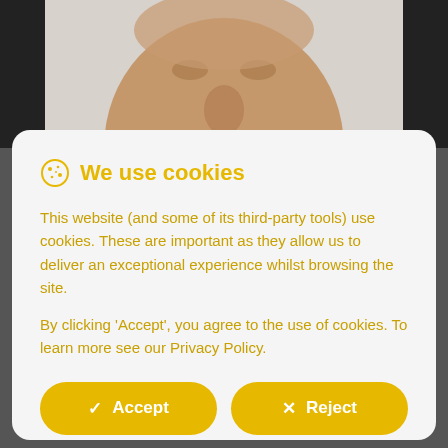[Figure (photo): Partial view of a man's face (eyes and forehead) in the background behind a cookie consent modal dialog]
We use cookies
This website (and some of its third-party tools) use cookies. These are important as they allow us to deliver an exceptional experience whilst browsing the site.
By clicking 'Accept', you agree to the use of cookies. To learn more see our Privacy Policy.
✓ Accept
✕ Reject